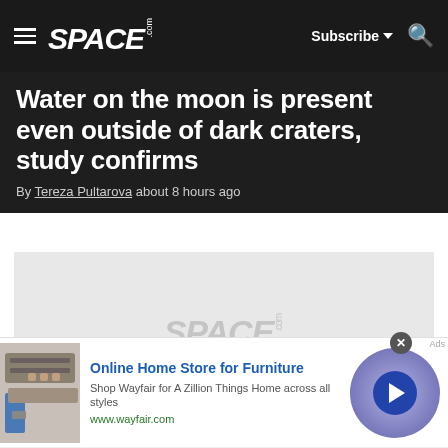SPACE.com — Subscribe — Search
Water on the moon is present even outside of dark craters, study confirms
By Tereza Pultarova about 8 hours ago
[Figure (photo): Space.com placeholder image for article about water on the moon]
Online Home Store for Furniture — Shop Wayfair for A Zillion Things Home across all styles — www.wayfair.com